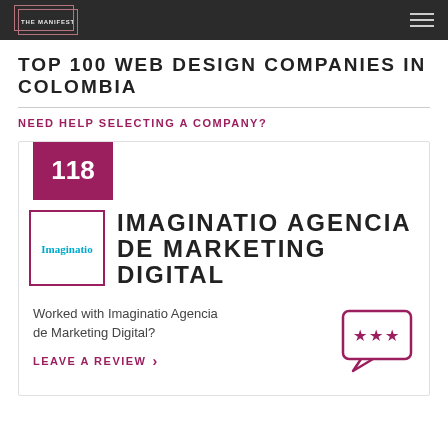THE MANIFEST
TOP 100 WEB DESIGN COMPANIES IN COLOMBIA
NEED HELP SELECTING A COMPANY?
118
IMAGINATIO AGENCIA DE MARKETING DIGITAL
Worked with Imaginatio Agencia de Marketing Digital?
LEAVE A REVIEW